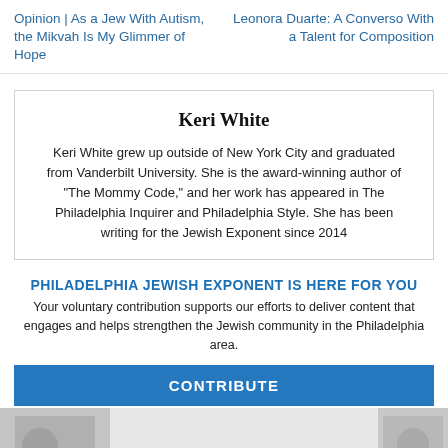Opinion | As a Jew With Autism, the Mikvah Is My Glimmer of Hope
Leonora Duarte: A Converso With a Talent for Composition
Keri White
Keri White grew up outside of New York City and graduated from Vanderbilt University. She is the award-winning author of "The Mommy Code," and her work has appeared in The Philadelphia Inquirer and Philadelphia Style. She has been writing for the Jewish Exponent since 2014
PHILADELPHIA JEWISH EXPONENT IS HERE FOR YOU
Your voluntary contribution supports our efforts to deliver content that engages and helps strengthen the Jewish community in the Philadelphia area.
CONTRIBUTE
Food for Thought on Yom Ha'atz